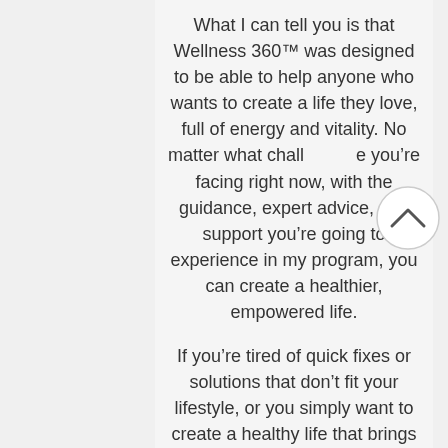What I can tell you is that Wellness 360™ was designed to be able to help anyone who wants to create a life they love, full of energy and vitality. No matter what challenge you're facing right now, with the guidance, expert advice, and support you're going to experience in my program, you can create a healthier, empowered life.
If you're tired of quick fixes or solutions that don't fit your lifestyle, or you simply want to create a healthy life that brings you energy for years to come, then my Wellness 360™ Personal Coaching Program is for you.